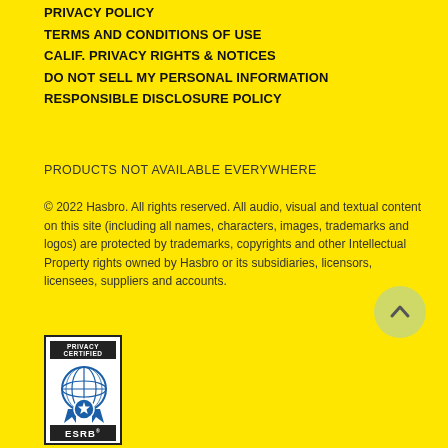PRIVACY POLICY
TERMS AND CONDITIONS OF USE
CALIF. PRIVACY RIGHTS & NOTICES
DO NOT SELL MY PERSONAL INFORMATION
RESPONSIBLE DISCLOSURE POLICY
PRODUCTS NOT AVAILABLE EVERYWHERE
© 2022 Hasbro. All rights reserved. All audio, visual and textual content on this site (including all names, characters, images, trademarks and logos) are protected by trademarks, copyrights and other Intellectual Property rights owned by Hasbro or its subsidiaries, licensors, licensees, suppliers and accounts.
[Figure (logo): ESRB Privacy Certified badge with globe and ribbon icon in blue and white, black border, text PRIVACY CERTIFIED at top and ESRB at bottom]